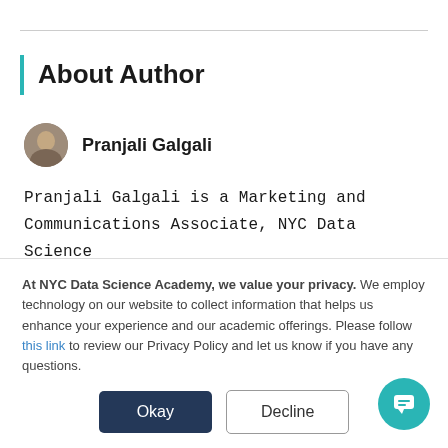About Author
Pranjali Galgali
Pranjali Galgali is a Marketing and Communications Associate, NYC Data Science Academy. She is a Master's in Digital Media and Strategic Communications from Rutgers University
At NYC Data Science Academy, we value your privacy. We employ technology on our website to collect information that helps us enhance your experience and our academic offerings. Please follow this link to review our Privacy Policy and let us know if you have any questions.